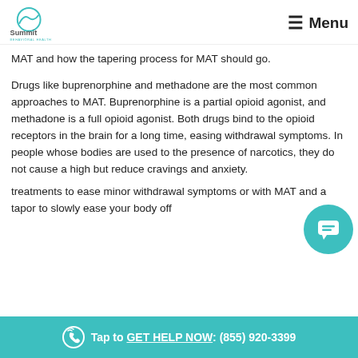Summit Behavioral Health — Menu
MAT and how the tapering process for MAT should go.
Drugs like buprenorphine and methadone are the most common approaches to MAT. Buprenorphine is a partial opioid agonist, and methadone is a full opioid agonist. Both drugs bind to the opioid receptors in the brain for a long time, easing withdrawal symptoms. In people whose bodies are used to the presence of narcotics, they do not cause a high but reduce cravings and anxiety.
Tap to GET HELP NOW: (855) 920-3399
treatments to ease minor withdrawal symptoms or with MAT and a tapor to slowly ease your body off